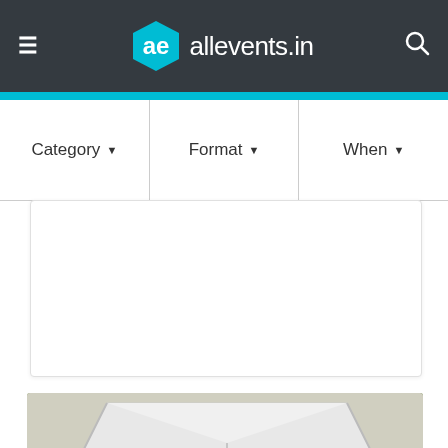allevents.in — navigation header with hamburger menu, logo, and search icon
Category ▼
Format ▼
When ▼
[Figure (photo): Advertisement/content card area — white rectangular card with light border]
[Figure (photo): Outdoor event photo showing a group of young people at a festival/market with white tent canopy, American Express and ACBA-Credit Agricole Bank banners visible in background]